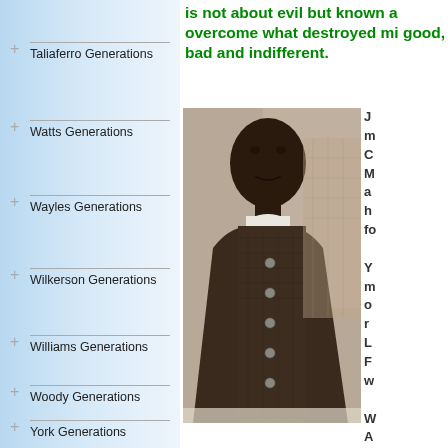Taliaferro Generations
Watts Generations
Wayles Generations
Wilkerson Generations
Williams Generations
Woody Generations
York Generations
is not about evil but known a overcome what destroyed mi good, bad and indifferent.
[Figure (photo): Historical black and white portrait photograph of an African American man wearing a buttoned jacket with a white collar]
J m C M a h fo Y m o r L F w W A